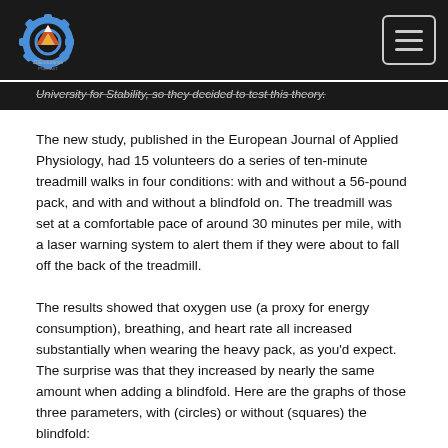[Logo] [Navigation menu button]
University for Stability, so they decided to test this theory.
The new study, published in the European Journal of Applied Physiology, had 15 volunteers do a series of ten-minute treadmill walks in four conditions: with and without a 56-pound pack, and with and without a blindfold on. The treadmill was set at a comfortable pace of around 30 minutes per mile, with a laser warning system to alert them if they were about to fall off the back of the treadmill.
The results showed that oxygen use (a proxy for energy consumption), breathing, and heart rate all increased substantially when wearing the heavy pack, as you'd expect. The surprise was that they increased by nearly the same amount when adding a blindfold. Here are the graphs of those three parameters, with (circles) or without (squares) the blindfold: